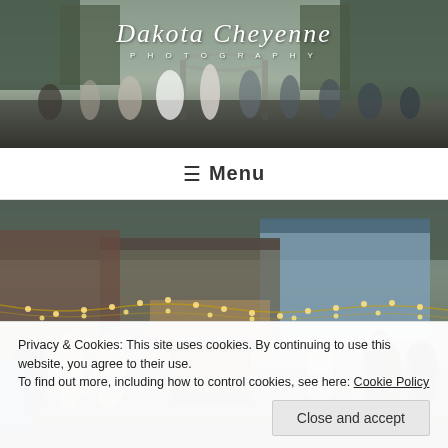[Figure (photo): Wedding ceremony outdoor photo with crowd of guests and wedding party, trees in background. Photography studio logo overlay reading 'Dakota Cheyenne PHOTOGRAPHY' in white script.]
≡ Menu
[Figure (photo): Outdoor evening event photo showing string lights, buildings, and crowd of people gathered, blue building in background.]
Privacy & Cookies: This site uses cookies. By continuing to use this website, you agree to their use.
To find out more, including how to control cookies, see here: Cookie Policy
Close and accept